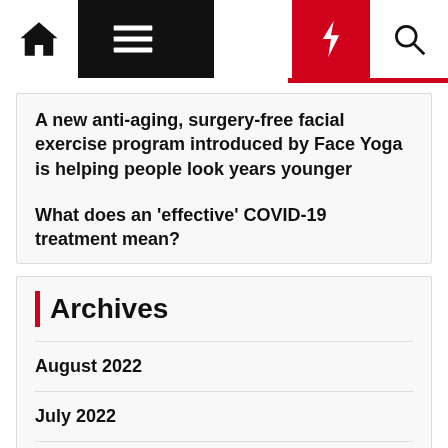Navigation bar with home, menu, moon, bolt, and search icons
A new anti-aging, surgery-free facial exercise program introduced by Face Yoga is helping people look years younger
What does an 'effective' COVID-19 treatment mean?
Archives
August 2022
July 2022
June 2022
April 2022